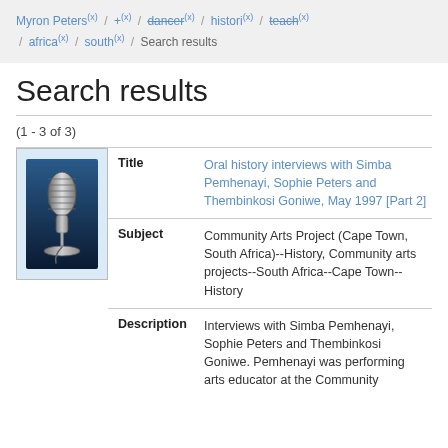Myron Peters (x) / + (x) / dancer (x) / histori (x) / teach (x) / africa (x) / south (x) / Search results
Search results
(1 - 3 of 3)
[Figure (photo): Microphone icon image]
| Field | Value |
| --- | --- |
| Title | Oral history interviews with Simba Pemhenayi, Sophie Peters and Thembinkosi Goniwe, May 1997 [Part 2] |
| Subject | Community Arts Project (Cape Town, South Africa)--History, Community arts projects--South Africa--Cape Town--History |
| Description | Interviews with Simba Pemhenayi, Sophie Peters and Thembinkosi Goniwe. Pemhenayi was performing arts educator at the Community |